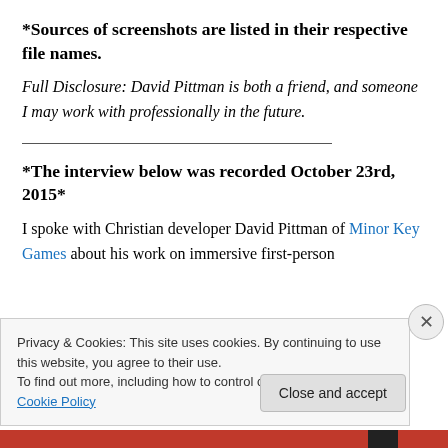*Sources of screenshots are listed in their respective file names.
Full Disclosure: David Pittman is both a friend, and someone I may work with professionally in the future.
*The interview below was recorded October 23rd, 2015*
I spoke with Christian developer David Pittman of Minor Key Games about his work on immersive first-person
Privacy & Cookies: This site uses cookies. By continuing to use this website, you agree to their use.
To find out more, including how to control cookies, see here: Cookie Policy